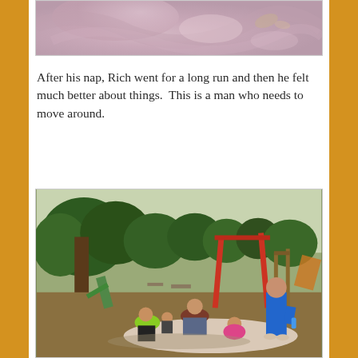[Figure (photo): Partial view of a fabric or bedding with swirled pink/mauve tones, cropped at top of page]
After his nap, Rich went for a long run and then he felt much better about things.  This is a man who needs to move around.
[Figure (photo): Outdoor playground scene with a woman sitting on a blanket with several children including a boy in green shirt, a girl in pink, and a taller boy in blue standing. Swing set and slide visible in background with trees.]